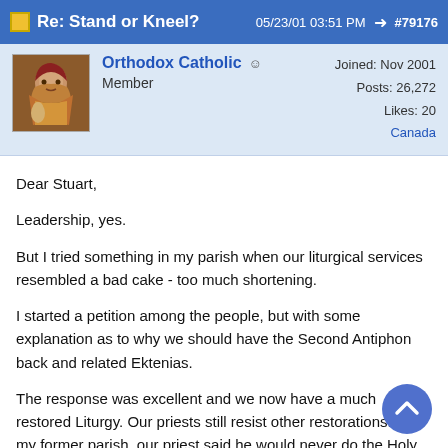Re: Stand or Kneel?  05/23/01 03:51 PM  #79176
Orthodox Catholic  Member  Joined: Nov 2001  Posts: 26,272  Likes: 20  Canada
Dear Stuart,

Leadership, yes.

But I tried something in my parish when our liturgical services resembled a bad cake - too much shortening.

I started a petition among the people, but with some explanation as to why we should have the Second Antiphon back and related Ektenias.

The response was excellent and we now have a much restored Liturgy. Our priests still resist other restorations. In my former parish, our priest said he would never do the Holy Thursday Washing of the Feet ("not as long as I am still a priest").